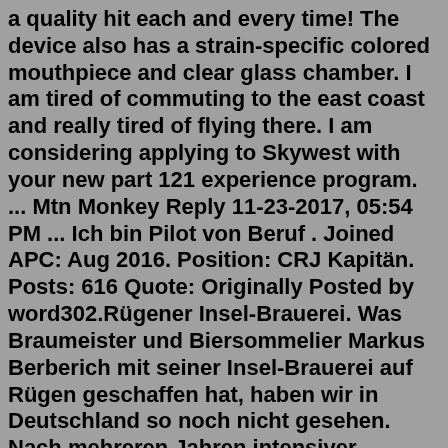a quality hit each and every time! The device also has a strain-specific colored mouthpiece and clear glass chamber. I am tired of commuting to the east coast and really tired of flying there. I am considering applying to Skywest with your new part 121 experience program. ... Mtn Monkey Reply 11-23-2017, 05:54 PM ... Ich bin Pilot von Beruf . Joined APC: Aug 2016. Position: CRJ Kapitän. Posts: 616 Quote: Originally Posted by word302.Rügener Insel-Brauerei. Was Braumeister und Biersommelier Markus Berberich mit seiner Insel-Brauerei auf Rügen geschaffen hat, haben wir in Deutschland so noch nicht gesehen. Nach mehreren Jahren intensiver Planungen und Verhandlungen konnte die neu gebaute Brauerei 2015 in Rambin auf Rügen eröffnet werden.​​​​​​​​​​ brown sugar ​​​​​​​​. Brown sugar ​​​​​​​​​​​​​​​​. ​​​​​​​​​​​​​​​​​​​​​​​​​​​​. ​​​​​​​​​​​​​​. ​​ ​​​​​​​​​​​​​​. ​​​​​​​ ...Phone Numbers 715 Phone Numbers 715653 Phone Numbers 7156530636 Lourdy Bleuet. 715-653-0636 Blown on the opposition? Hlb ci...